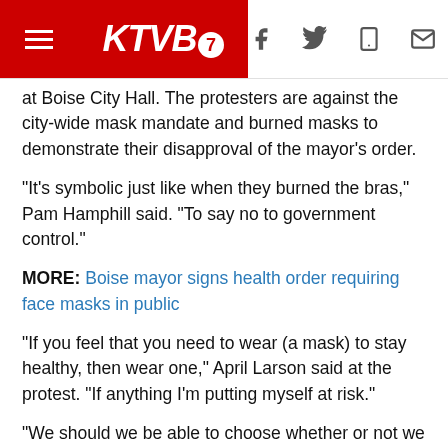KTVB7 — navigation header with hamburger menu, logo, and social icons
at Boise City Hall. The protesters are against the city-wide mask mandate and burned masks to demonstrate their disapproval of the mayor's order.
"It's symbolic just like when they burned the bras," Pam Hamphill said. "To say no to government control."
MORE: Boise mayor signs health order requiring face masks in public
"If you feel that you need to wear (a mask) to stay healthy, then wear one," April Larson said at the protest. "If anything I'm putting myself at risk."
"We should we be able to choose whether or not we wear a mask in public," Richard Reed added. "There is science showing that these masks don't do anything."
Boise City Council President Elaine Clegg said otherwise.